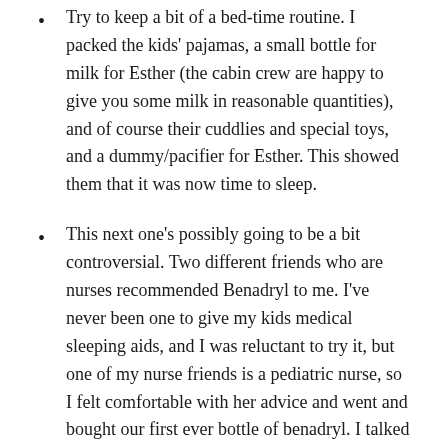Try to keep a bit of a bed-time routine. I packed the kids' pajamas, a small bottle for milk for Esther (the cabin crew are happy to give you some milk in reasonable quantities), and of course their cuddlies and special toys, and a dummy/pacifier for Esther. This showed them that it was now time to sleep.
This next one's possibly going to be a bit controversial. Two different friends who are nurses recommended Benadryl to me. I've never been one to give my kids medical sleeping aids, and I was reluctant to try it, but one of my nurse friends is a pediatric nurse, so I felt comfortable with her advice and went and bought our first ever bottle of benadryl. I talked to her about dosage so I wouldn't overdose them (!) and then I